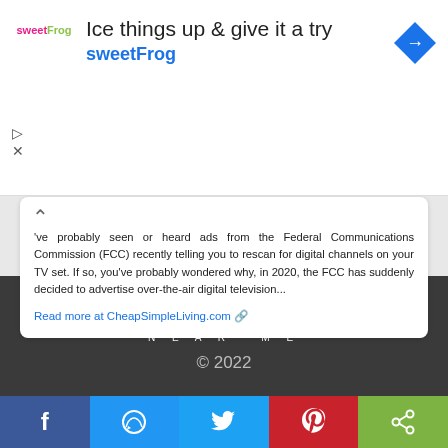[Figure (advertisement): SweetFrog frozen yogurt advertisement banner with logo, headline 'Ice things up & give it a try', brand name 'sweetFrog', and a blue navigation arrow icon on the right]
ve probably seen or heard ads from the Federal Communications Commission (FCC) recently telling you to rescan for digital channels on your TV set. If so, you've probably wondered why, in 2020, the FCC has suddenly decided to advertise over-the-air digital television...
Read more at CheapSimpleLiving.com
[Figure (logo): TV Stations Near Me logo in white on dark gray background with antenna graphic]
© 2022
[Figure (infographic): Social sharing bar with Facebook, Messenger, Twitter, Pinterest, and Share buttons]